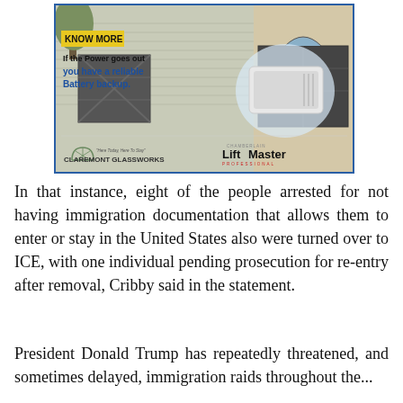[Figure (illustration): Advertisement for Claremont Glassworks and LiftMaster battery backup garage door opener. Shows a house with garage doors, a yellow 'KNOW MORE' badge, text reading 'If the Power goes out you have a reliable Battery backup.' with Claremont Glassworks and LiftMaster Professional logos.]
In that instance, eight of the people arrested for not having immigration documentation that allows them to enter or stay in the United States also were turned over to ICE, with one individual pending prosecution for re-entry after removal, Cribby said in the statement.
President Donald Trump has repeatedly threatened, and sometimes delayed, immigration raids throughout the...